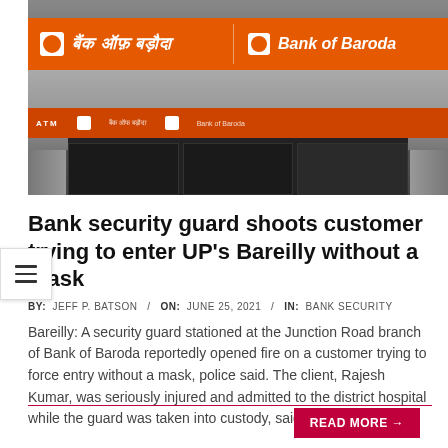[Figure (photo): Bank of Baroda branch exterior showing orange signage with Hindi and English text, ATM sign, and building entrance]
Bank security guard shoots customer trying to enter UP's Bareilly without a mask
BY: JEFF P. BATSON / ON: JUNE 25, 2021 / IN: BANK SECURITY
Bareilly: A security guard stationed at the Junction Road branch of Bank of Baroda reportedly opened fire on a customer trying to force entry without a mask, police said. The client, Rajesh Kumar, was seriously injured and admitted to the district hospital while the guard was taken into custody, said